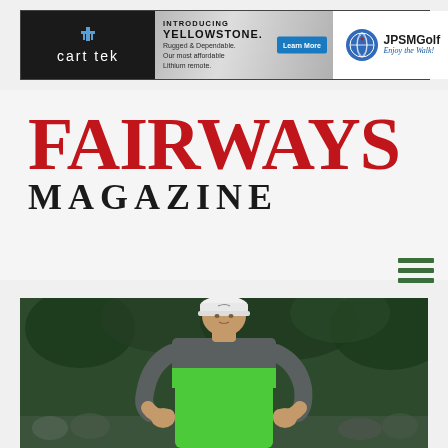[Figure (other): Banner advertisement for cart tek featuring 'Introducing Yellowstone. Rugged & Dependable. Our most affordable Lithium remote.' with a Learn More button, and JPSMGolf 'Enjoy the Walk!' branding with globe/maple leaf logo on white background]
FAIRWAYS MAGAZINE
[Figure (photo): Photograph of a professional golfer (Rory McIlroy) wearing a white Nike cap and a grey/bright green color-blocked polo shirt, standing with hands on hips, with trees and crowd in the background]